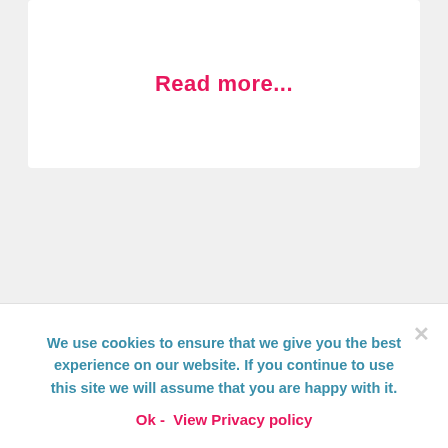Read more...
We use cookies to ensure that we give you the best experience on our website. If you continue to use this site we will assume that you are happy with it.
Ok -   View Privacy policy